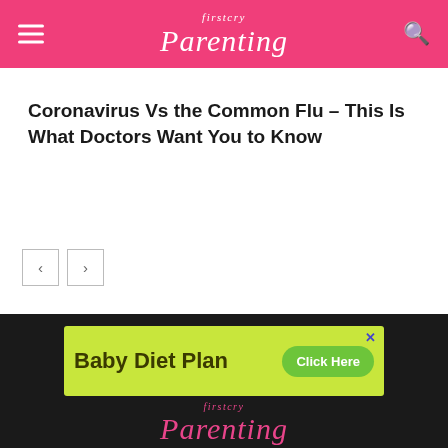firstcry Parenting
Coronavirus Vs the Common Flu – This Is What Doctors Want You to Know
[Figure (other): Navigation previous/next arrow buttons]
[Figure (other): Advertisement banner: Baby Diet Plan – Click Here on yellow-green background]
firstcry Parenting logo in pink on dark background